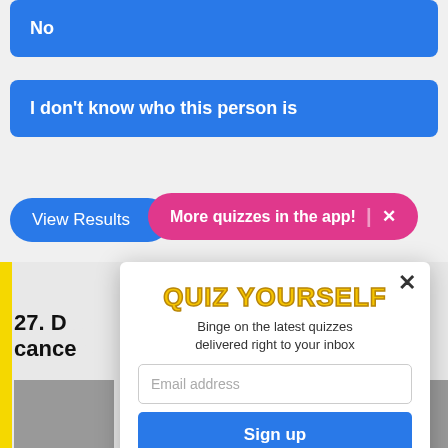No
I don't know who this person is
View Results
More quizzes in the app! ×
27. D... o be cance...
[Figure (screenshot): Modal popup with QUIZ YOURSELF title, email signup form with Sign up button]
QUIZ YOURSELF
Binge on the latest quizzes delivered right to your inbox
Email address
Sign up
This site is protected by reCAPTCHA and the Google Privacy Policy and Terms of Service apply.